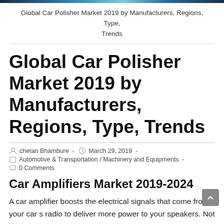[Figure (photo): Thin decorative image banner at the top of the page showing a car-related scene in blue/dark tones]
Global Car Polisher Market 2019 by Manufacturers, Regions, Type, Trends
Global Car Polisher Market 2019 by Manufacturers, Regions, Type, Trends
chetan Bhambure  -  March 29, 2019  -
Automotive & Transportation / Machinery and Equipments  -
0 Comments
Car Amplifiers Market 2019-2024
A car amplifier boosts the electrical signals that come from your car s radio to deliver more power to your speakers. Not only does the amp produce more power, but it also makes the sound clearer and can make it possible for you to hook up more